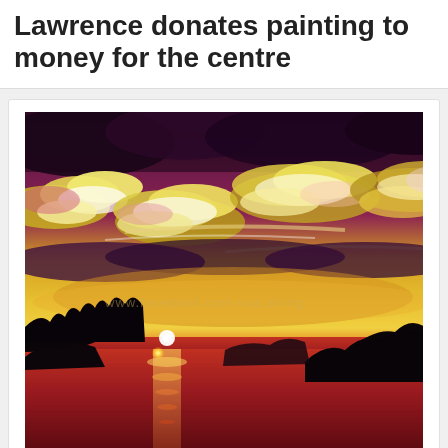Lawrence donates painting to money for the centre
[Figure (photo): A vibrant oil painting of a tropical sunset over water. Dramatic purple and dark clouds fill the upper sky, with luminous yellow-green and pink cloud formations. The horizon glows vivid orange and red. Black silhouettes of mountains and trees frame left and right. The sun sets behind distant hills, reflecting on deep red-pink water below. A watermark reads www.facebook.com noa.ahing]